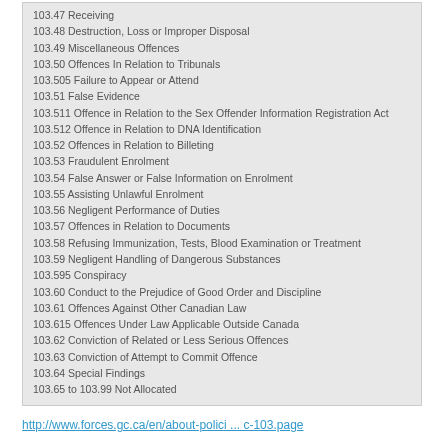103.47 Receiving
103.48 Destruction, Loss or Improper Disposal
103.49 Miscellaneous Offences
103.50 Offences In Relation to Tribunals
103.505 Failure to Appear or Attend
103.51 False Evidence
103.511 Offence in Relation to the Sex Offender Information Registration Act
103.512 Offence in Relation to DNA Identification
103.52 Offences in Relation to Billeting
103.53 Fraudulent Enrolment
103.54 False Answer or False Information on Enrolment
103.55 Assisting Unlawful Enrolment
103.56 Negligent Performance of Duties
103.57 Offences in Relation to Documents
103.58 Refusing Immunization, Tests, Blood Examination or Treatment
103.59 Negligent Handling of Dangerous Substances
103.595 Conspiracy
103.60 Conduct to the Prejudice of Good Order and Discipline
103.61 Offences Against Other Canadian Law
103.615 Offences Under Law Applicable Outside Canada
103.62 Conviction of Related or Less Serious Offences
103.63 Conviction of Attempt to Commit Offence
103.64 Special Findings
103.65 to 103.99 Not Allocated
http://www.forces.gc.ca/en/about-polici ... c-103.page